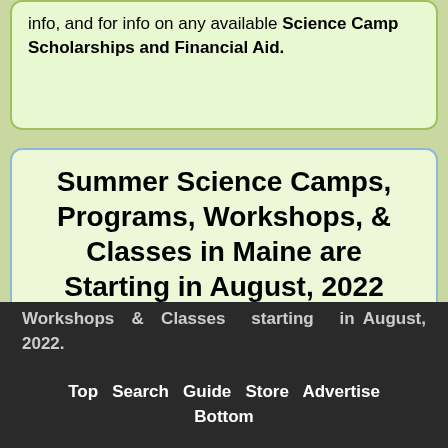info, and for info on any available Science Camp Scholarships and Financial Aid.
Summer Science Camps, Programs, Workshops, & Classes in Maine are Starting in August, 2022
Many of our Maine Science Camps offer Summer Science Programs, Activities, Workshops & Classes starting in August, 2022.
Top  Search  Guide  Store  Advertise
Bottom
Be sure to check the "Year Round...